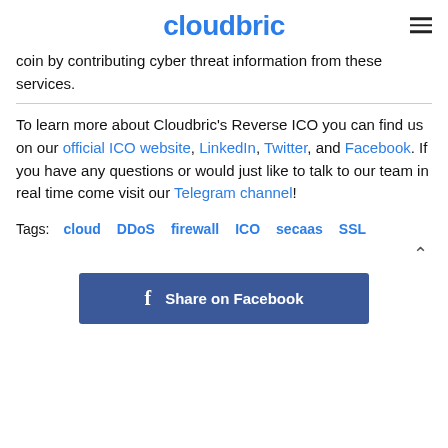cloudbric
coin by contributing cyber threat information from these services.
To learn more about Cloudbric's Reverse ICO you can find us on our official ICO website, LinkedIn, Twitter, and Facebook. If you have any questions or would just like to talk to our team in real time come visit our Telegram channel!
Tags: cloud  DDoS  firewall  ICO  secaas  SSL
[Figure (other): Share on Facebook button]